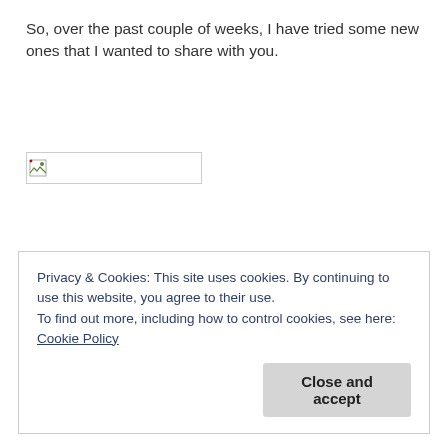So, over the past couple of weeks, I have tried some new ones that I wanted to share with you.
[Figure (other): Broken image placeholder — a small rectangle with a broken image icon]
Privacy & Cookies: This site uses cookies. By continuing to use this website, you agree to their use.
To find out more, including how to control cookies, see here: Cookie Policy

Close and accept